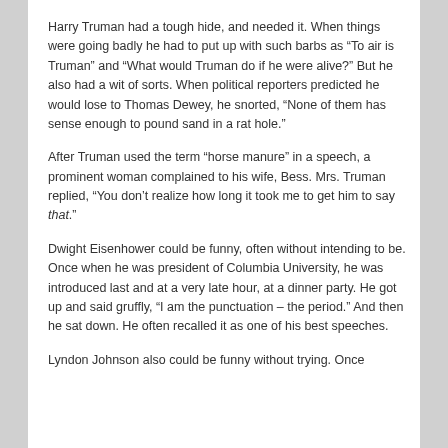Harry Truman had a tough hide, and needed it. When things were going badly he had to put up with such barbs as “To air is Truman” and “What would Truman do if he were alive?” But he also had a wit of sorts. When political reporters predicted he would lose to Thomas Dewey, he snorted, “None of them has sense enough to pound sand in a rat hole.”
After Truman used the term “horse manure” in a speech, a prominent woman complained to his wife, Bess. Mrs. Truman replied, “You don’t realize how long it took me to get him to say that.”
Dwight Eisenhower could be funny, often without intending to be. Once when he was president of Columbia University, he was introduced last and at a very late hour, at a dinner party. He got up and said gruffly, “I am the punctuation – the period.” And then he sat down. He often recalled it as one of his best speeches.
Lyndon Johnson also could be funny without trying. Once